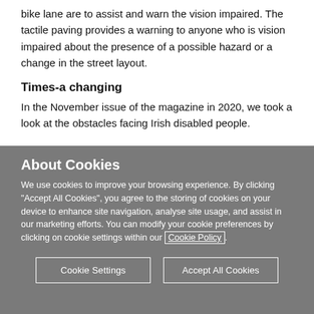bike lane are to assist and warn the vision impaired. The tactile paving provides a warning to anyone who is vision impaired about the presence of a possible hazard or a change in the street layout.
Times-a changing
In the November issue of the magazine in 2020, we took a look at the obstacles facing Irish disabled people.
About Cookies
We use cookies to improve your browsing experience. By clicking “Accept All Cookies”, you agree to the storing of cookies on your device to enhance site navigation, analyse site usage, and assist in our marketing efforts. You can modify your cookie preferences by clicking on cookie settings within our Cookie Policy.
Cookie Settings
Accept All Cookies